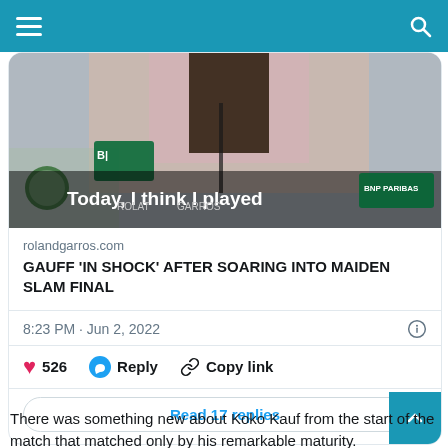Navigation bar with menu and search icons
[Figure (screenshot): Screenshot of a tweet showing a Roland Garros press conference photo with the text 'Today, I think I played' overlaid, and a link preview to rolandgarros.com titled 'GAUFF IN SHOCK AFTER SOARING INTO MAIDEN SLAM FINAL'. Tweet timestamp: 8:23 PM · Jun 2, 2022. 526 likes, Reply, and Copy link actions. Read 17 replies button.]
There was something new about Koko Kauf from the start of the match that matched only by his remarkable maturity.